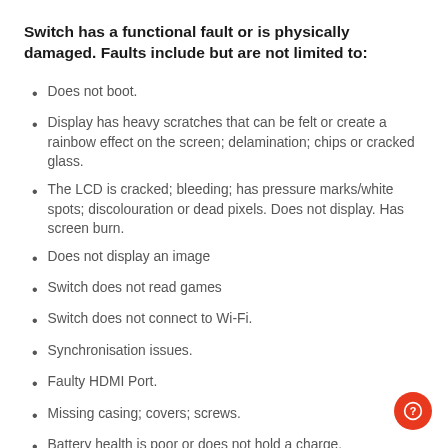Switch has a functional fault or is physically damaged. Faults include but are not limited to:
Does not boot.
Display has heavy scratches that can be felt or create a rainbow effect on the screen; delamination; chips or cracked glass.
The LCD is cracked; bleeding; has pressure marks/white spots; discolouration or dead pixels. Does not display. Has screen burn.
Does not display an image
Switch does not read games
Switch does not connect to Wi-Fi.
Synchronisation issues.
Faulty HDMI Port.
Missing casing; covers; screws.
Battery health is poor or does not hold a charge.
Switch is a non UK variant.
Switch overheats.
Any signs of liquid damage.
Missing; faulty or damaged controllers; Joy Con grip; Joy Con Wrist